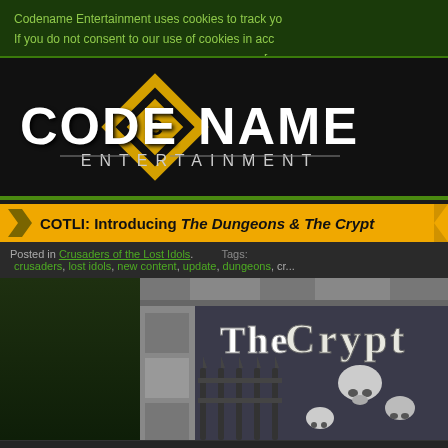Codename Entertainment uses cookies to track yo... If you do not consent to our use of cookies in acc... [link]
[Figure (logo): Codename Entertainment logo — white text CODE NAME with diamond/hexagon icon in center, ENTERTAINMENT below in smaller text, on black background]
COTLI: Introducing The Dungeons & The Crypt
Posted in Crusaders of the Lost Idols.   Tags: crusaders, lost idols, new content, update, dungeons, cr...
[Figure (illustration): Game banner image showing 'The Crypt' text in gothic lettering with stone walls, iron fence spikes, and skulls on a dark background]
Hail Crusaders!